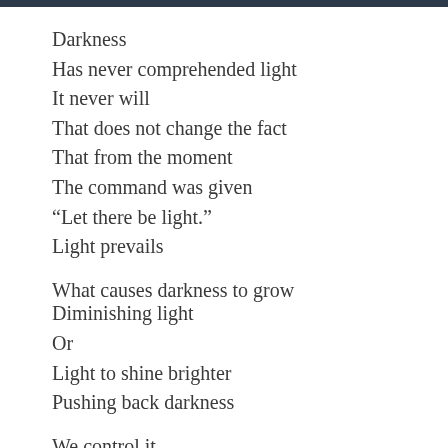Darkness
Has never comprehended light
It never will
That does not change the fact
That from the moment
The command was given
“Let there be light.”
Light prevails

What causes darkness to grow Diminishing light
Or
Light to shine brighter
Pushing back darkness

We control it